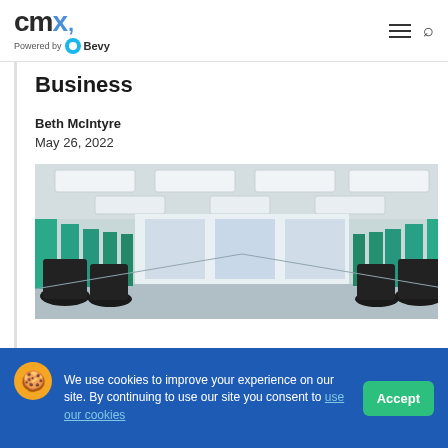[Figure (logo): CMX logo with 'Powered by Bevy' tagline]
Business
Beth McIntyre
May 26, 2022
[Figure (photo): Office interior with teal cubicle dividers and black chairs arranged in rows under fluorescent ceiling lights]
We use cookies to improve your experience on our site. By continuing to use our site you consent to use our cookies